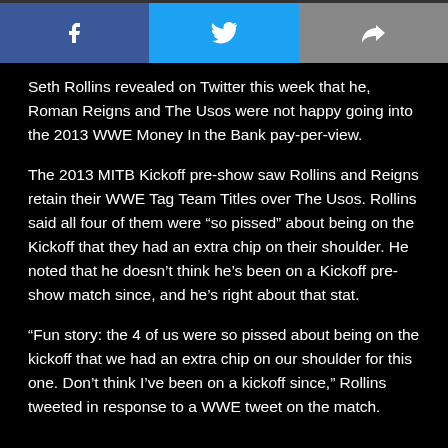[Figure (other): Social share buttons: Facebook (blue), Twitter (light blue), Share/forward (grey)]
Seth Rollins revealed on Twitter this week that he, Roman Reigns and The Usos were not happy going into the 2013 WWE Money In the Bank pay-per-view.
The 2013 MITB Kickoff pre-show saw Rollins and Reigns retain their WWE Tag Team Titles over The Usos. Rollins said all four of them were “so pissed” about being on the Kickoff that they had an extra chip on their shoulder. He noted that he doesn’t think he’s been on a Kickoff pre-show match since, and he’s right about that stat.
“Fun story: the 4 of us were so pissed about being on the kickoff that we had an extra chip on our shoulder for this one. Don’t think I’ve been on a kickoff since,” Rollins tweeted in response to a WWE tweet on the match.